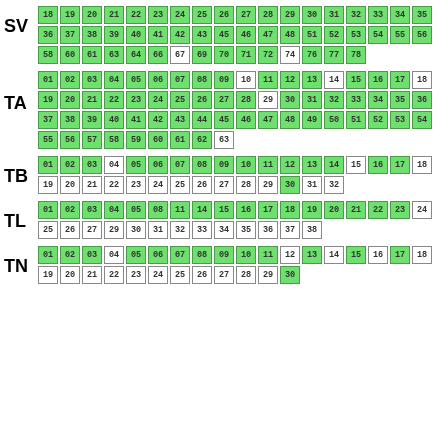[Figure (infographic): Grid of numbered boxes (data slots) grouped by section labels SV, TA, TB, TL, TN. Green boxes indicate active/filled slots, white boxes indicate empty/inactive slots.]
SV: 18-34 (row1), 35-54 (row2, skip 44), 55-78 (row3, various)
TA: 01-63
TB: 01-32
TL: 01-38 (subset)
TN: 01-30